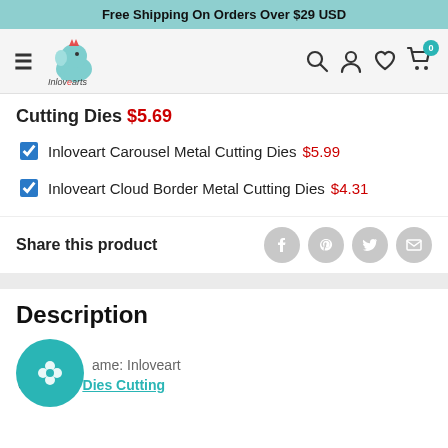Free Shipping On Orders Over $29 USD
[Figure (logo): Inloveart logo with teal elephant and brand name]
Cutting Dies $5.69
Inloveart Carousel Metal Cutting Dies  $5.99
Inloveart Cloud Border Metal Cutting Dies  $4.31
Share this product
Description
Name: Inloveart
Category: Dies Cutting